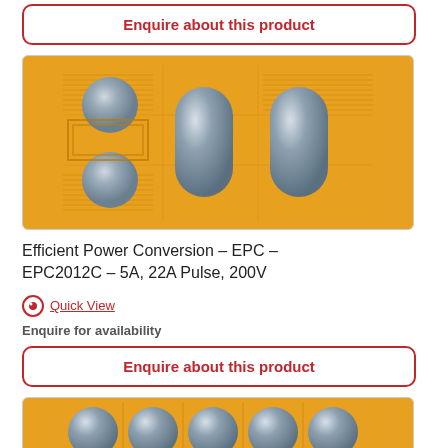Enquire about this product
[Figure (photo): EPC2012C chip close-up showing metallic bumps on gold substrate with circuit traces - Efficient Power Conversion EPC chip]
Efficient Power Conversion – EPC – EPC2012C – 5A, 22A Pulse, 200V
Quick View
Enquire for availability
Enquire about this product
[Figure (photo): Partial view of another EPC chip showing multiple metallic bumps on gold substrate]